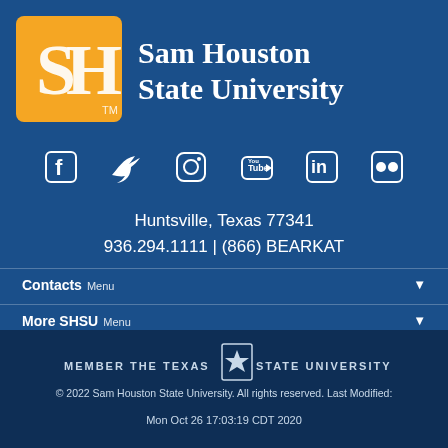[Figure (logo): Sam Houston State University logo: orange square with white SH letters and TM mark, with university name in white serif text on blue background]
[Figure (infographic): Row of six social media icons: Facebook, Twitter, Instagram, YouTube, LinkedIn, Flickr — white icons on blue background]
Huntsville, Texas 77341
936.294.1111 | (866) BEARKAT
Contacts Menu
More SHSU Menu
[Figure (logo): Member The Texas State University System logo with star emblem]
© 2022 Sam Houston State University. All rights reserved. Last Modified:
Mon Oct 26 17:03:19 CDT 2020